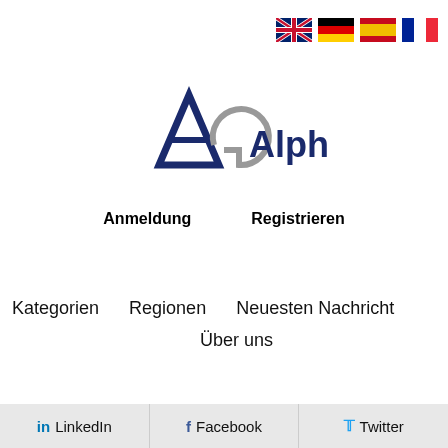[Figure (other): Language flags: UK, Germany, Spain, France]
[Figure (logo): AlphaGalileo logo with stylized A and G letters, text 'Alpha' in dark blue bold and 'Galileo' in grey]
Anmeldung    Registrieren
Kategorien    Regionen    Neuesten Nachricht
Über uns
in LinkedIn   f Facebook   Twitter